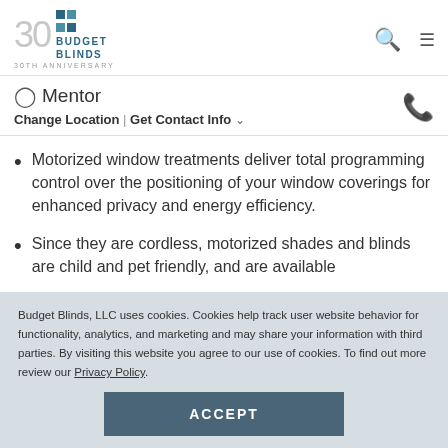Budget Blinds 30th Anniversary
Mentor
Change Location | Get Contact Info
Motorized window treatments deliver total programming control over the positioning of your window coverings for enhanced privacy and energy efficiency.
Since they are cordless, motorized shades and blinds are child and pet friendly, and are available
Budget Blinds, LLC uses cookies. Cookies help track user website behavior for functionality, analytics, and marketing and may share your information with third parties. By visiting this website you agree to our use of cookies. To find out more review our Privacy Policy.
ACCEPT